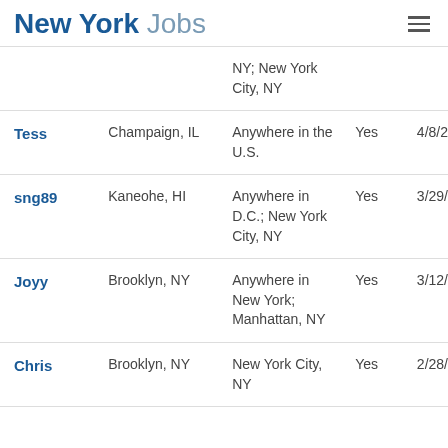New York Jobs
| Name | Location | Desired Location | Relocate | Date |
| --- | --- | --- | --- | --- |
|  |  | NY; New York City, NY |  |  |
| Tess | Champaign, IL | Anywhere in the U.S. | Yes | 4/8/2... |
| sng89 | Kaneohe, HI | Anywhere in D.C.; New York City, NY | Yes | 3/29/... |
| Joyy | Brooklyn, NY | Anywhere in New York; Manhattan, NY | Yes | 3/12/... |
| Chris | Brooklyn, NY | New York City, NY | Yes | 2/28/... |